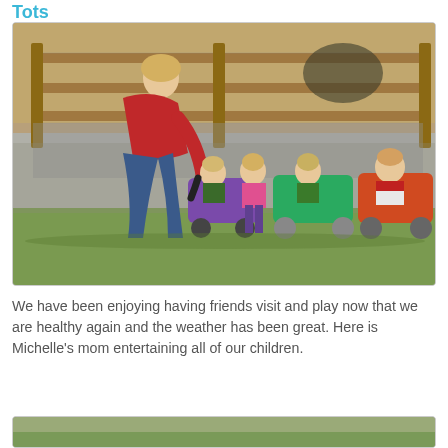Tots
[Figure (photo): A woman in a red sweater bends down to assist several young toddlers riding in colorful toy wagons (purple, green, orange) on grass in front of a wooden fence with wire mesh. Five children are present.]
We have been enjoying having friends visit and play now that we are healthy again and the weather has been great. Here is Michelle's mom entertaining all of our children.
[Figure (photo): Partial view of another outdoor photo at the bottom of the page.]